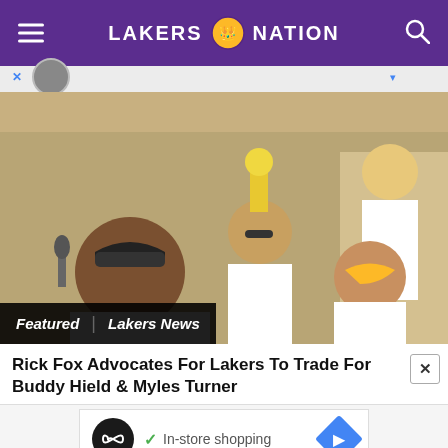LAKERS NATION
[Figure (photo): Lakers parade celebration photo: players holding NBA championship trophy aloft, wearing white championship t-shirts. A man with a microphone at left.]
Featured | Lakers News
Rick Fox Advocates For Lakers To Trade For Buddy Hield & Myles Turner
[Figure (infographic): Advertisement banner: infinity loop logo, checkmark with 'In-store shopping' text, blue diamond navigation arrow icon]